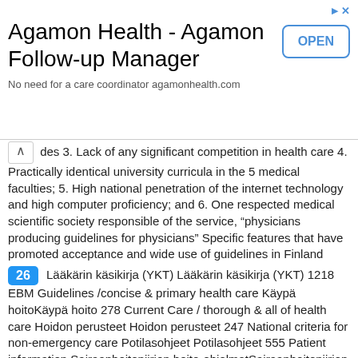[Figure (other): Advertisement banner: Agamon Health - Agamon Follow-up Manager with OPEN button and tagline 'No need for a care coordinator agamonhealth.com']
des 3. Lack of any significant competition in health care 4. Practically identical university curricula in the 5 medical faculties; 5. High national penetration of the internet technology and high computer proficiency; and 6. One respected medical scientific society responsible of the service, "physicians producing guidelines for physicians" Specific features that have promoted acceptance and wide use of guidelines in Finland
26   Lääkärin käsikirja (YKT) Lääkärin käsikirja (YKT) 1218 EBM Guidelines /concise & primary health care Käypä hoitoKäypä hoito 278 Current Care / thorough & all of health care Hoidon perusteet Hoidon perusteet 247 National criteria for non-emergency care Potilasohjeet Potilasohjeet 555 Patient information Sairaanhoitopiirien hoito-ohjelmatSairaanhoitopiirien hoito-ohjelmat 631 Hospital Districts' localized guidelines /care pathways KuvatKuvat 2062 Pictures Aikakauskirja Duodecim Aikakauskirja Duodecim 9328 Finnish Medical Journal Duodecim